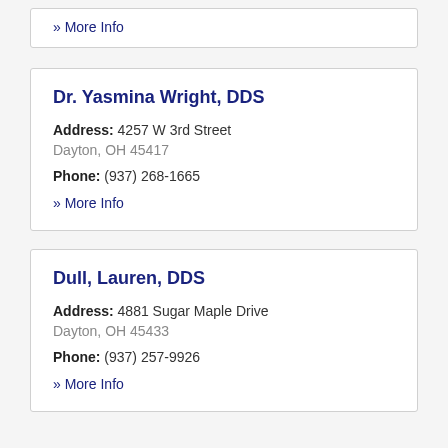» More Info
Dr. Yasmina Wright, DDS
Address: 4257 W 3rd Street
Dayton, OH 45417
Phone: (937) 268-1665
» More Info
Dull, Lauren, DDS
Address: 4881 Sugar Maple Drive
Dayton, OH 45433
Phone: (937) 257-9926
» More Info